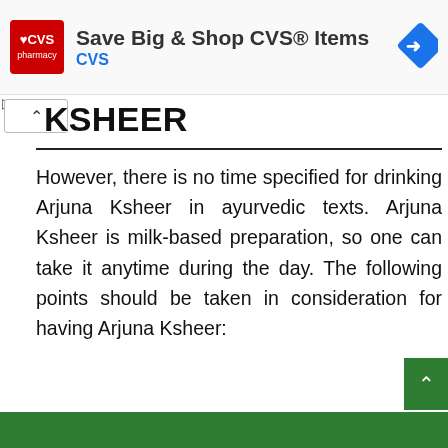[Figure (screenshot): CVS Pharmacy advertisement banner with red CVS logo, text 'Save Big & Shop CVS® Items' and blue diamond navigation icon, with CVS text below]
KSHEER
However, there is no time specified for drinking Arjuna Ksheer in ayurvedic texts. Arjuna Ksheer is milk-based preparation, so one can take it anytime during the day. The following points should be taken in consideration for having Arjuna Ksheer: